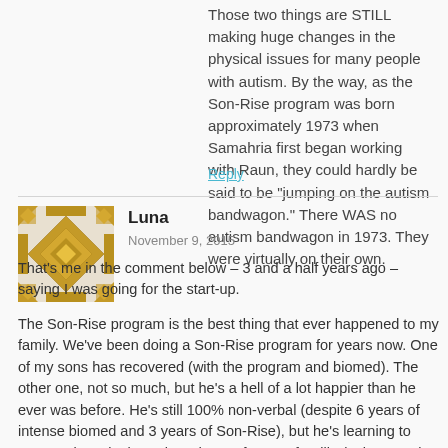Those two things are STILL making huge changes in the physical issues for many people with autism. By the way, as the Son-Rise program was born approximately 1973 when Samahria first began working with Raun, they could hardly be said to be "jumping on the autism bandwagon." There WAS no autism bandwagon in 1973. They were virtually on their own.
Reply
[Figure (illustration): Golden mosaic avatar icon for user Luna]
Luna
November 9, 2015
That's me in the comment below – 3 and a half years ago – saying I was going for the start-up.

The Son-Rise program is the best thing that ever happened to my family. We've been doing a Son-Rise program for years now. One of my sons has recovered (with the program and biomed). The other one, not so much, but he's a hell of a lot happier than he ever was before. He's still 100% non-verbal (despite 6 years of intense biomed and 3 years of Son-Rise), but he's learning to communicate by letter-board. He's fun, goofy, silly, loving, gentle, snuggly, all those good things. And he wasn't like that before Son-Rise.